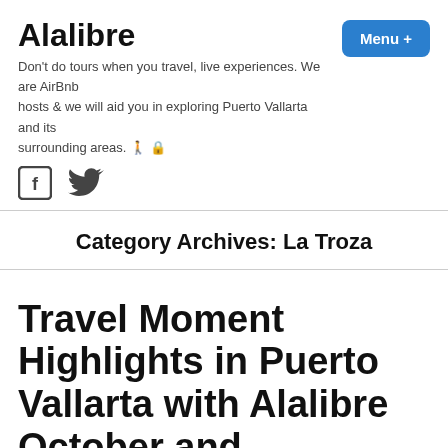Alalibre
Don't do tours when you travel, live experiences. We are AirBnb hosts & we will aid you in exploring Puerto Vallarta and its surrounding areas. 🚶 🔒
[Figure (logo): Facebook and Twitter social media icons]
Category Archives: La Troza
Travel Moment Highlights in Puerto Vallarta with Alalibre October and November 2021